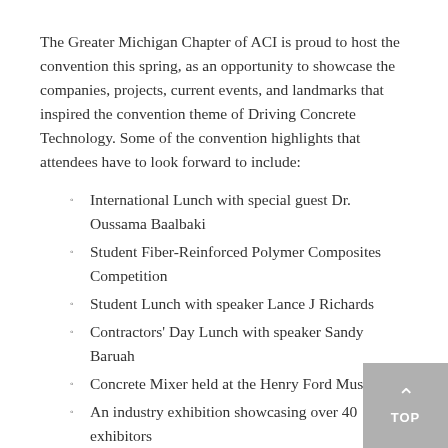The Greater Michigan Chapter of ACI is proud to host the convention this spring, as an opportunity to showcase the companies, projects, current events, and landmarks that inspired the convention theme of Driving Concrete Technology. Some of the convention highlights that attendees have to look forward to include:
International Lunch with special guest Dr. Oussama Baalbaki
Student Fiber-Reinforced Polymer Composites Competition
Student Lunch with speaker Lance J Richards
Contractors' Day Lunch with speaker Sandy Baruah
Concrete Mixer held at the Henry Ford Museum
An industry exhibition showcasing over 40 exhibitors